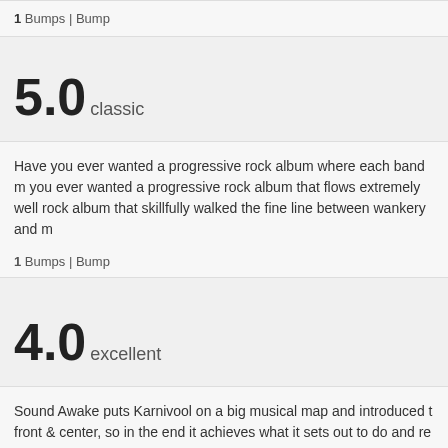1 Bumps | Bump
5.0 classic
Have you ever wanted a progressive rock album where each band m... you ever wanted a progressive rock album that flows extremely well... rock album that skillfully walked the fine line between wankery and m...
1 Bumps | Bump
4.0 excellent
Sound Awake puts Karnivool on a big musical map and introduced t... front & center, so in the end it achieves what it sets out to do and re...
Bump
3.5 great